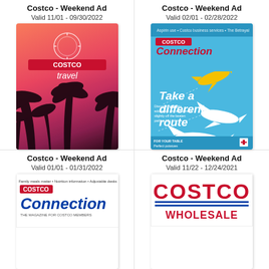Costco - Weekend Ad
Valid 11/01 - 09/30/2022
[Figure (photo): Costco Travel winter catalog cover with palm trees at sunset, pink/orange sky]
Costco - Weekend Ad
Valid 02/01 - 02/28/2022
[Figure (photo): Costco Connection magazine cover with blue background and airplanes, headline 'Take a different route']
Costco - Weekend Ad
Valid 01/01 - 01/31/2022
[Figure (photo): Costco Connection magazine cover, January 2022]
Costco - Weekend Ad
Valid 11/22 - 12/24/2021
[Figure (logo): Costco Wholesale logo in red with blue horizontal lines]